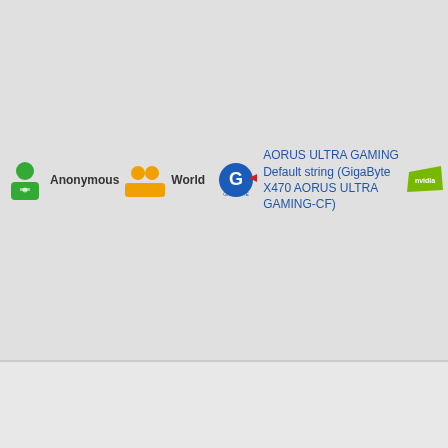| User | Group | Motherboard | GPU |
| --- | --- | --- | --- |
| Anonymous | World | GigaByte X470 AORUS ULTRA GAMING Default string (GigaByte X470 AORUS ULTRA GAMING-CF) | NVIDIA (2560S 1.77GH 8GB 9. |